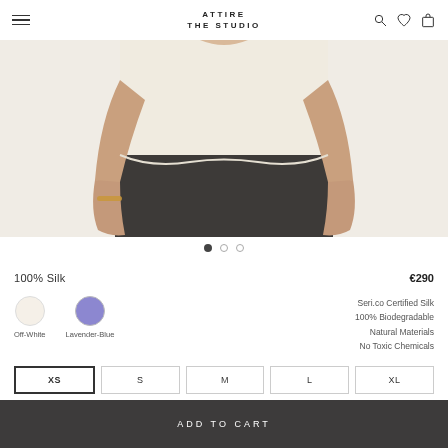ATTIRE THE STUDIO
[Figure (photo): Product photo of a model wearing a cream/off-white silk blouse tucked into a dark charcoal skirt, cropped to show torso and arms with gold bracelet visible]
100% Silk   €290
Off-White  Lavender-Blue
Serico Certified Silk
100% Biodegradable
Natural Materials
No Toxic Chemicals
XS
S
M
L
XL
ADD TO CART